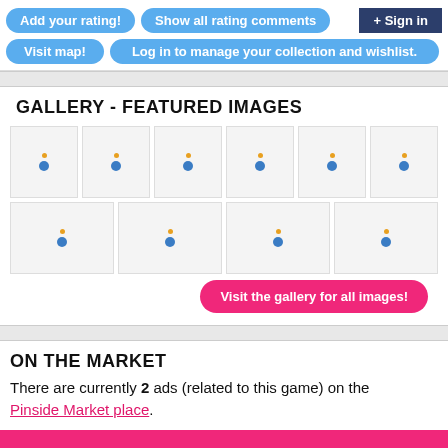Add your rating! | Show all rating comments | Sign in | Visit map! | Log in to manage your collection and wishlist.
GALLERY - FEATURED IMAGES
[Figure (other): Gallery grid of 10 thumbnail image placeholders, each showing a loading spinner (orange dot above blue dot) on a light gray background.]
Visit the gallery for all images!
ON THE MARKET
There are currently 2 ads (related to this game) on the Pinside Market place.